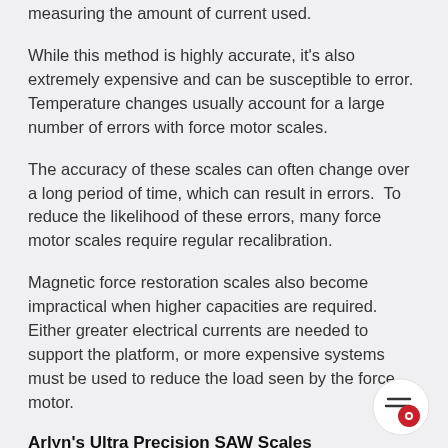measuring the amount of current used.
While this method is highly accurate, it's also extremely expensive and can be susceptible to error. Temperature changes usually account for a large number of errors with force motor scales.
The accuracy of these scales can often change over a long period of time, which can result in errors.  To reduce the likelihood of these errors, many force motor scales require regular recalibration.
Magnetic force restoration scales also become impractical when higher capacities are required.  Either greater electrical currents are needed to support the platform, or more expensive systems must be used to reduce the load seen by the force motor.
Arlyn's Ultra Precision SAW Scales